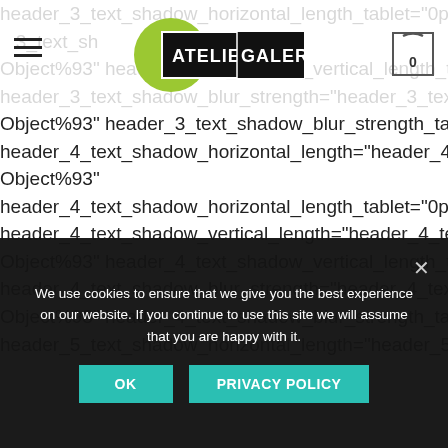[Figure (screenshot): Atelier Galerie website header with hamburger menu, logo (green circle with ATELIER GALERIE text on black rectangle), and shopping cart icon showing 0]
header_3_text_shadow_horizontal_length_tablet="0px" header_3_text_sh Object%93" header_3_text_shadow_vertical_length_tablet="0px" header_3_text_shadow_blur_strength="header_3_text_shadow_st Object%93" header_3_text_shadow_blur_strength_tablet="1px" header_4_text_shadow_horizontal_length="header_4_text_shado Object%93" header_4_text_shadow_horizontal_length_tablet="0px" header_4_text_shadow_vertical_length="header_4_text_shadow_s Object%93" header_4_text_shadow_vertical_length_tablet="0px" header_4_text_shadow_blur_strength="header_4_text_shadow_st Object%93" header_4_text_shadow_blur_strength_tablet="1px" header_5_text_shadow_horizontal_length="header_5_text_shado
We use cookies to ensure that we give you the best experience on our website. If you continue to use this site we will assume that you are happy with it.
OK
PRIVACY POLICY